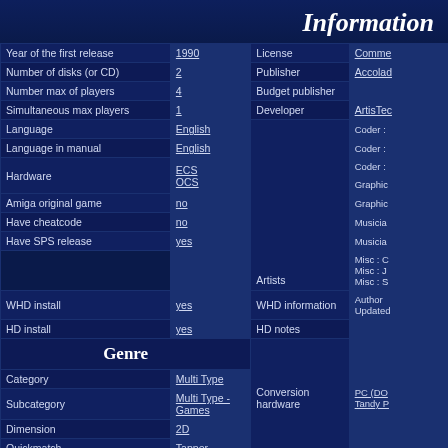Information
| Field | Value | Field2 | Value2 |
| --- | --- | --- | --- |
| Year of the first release | 1990 | License | Comme... |
| Number of disks (or CD) | 2 | Publisher | Accolad... |
| Number max of players | 4 | Budget publisher |  |
| Simultaneous max players | 1 | Developer | ArtisTec... |
| Language | English |  | Coder : ... |
| Language in manual | English |  | Coder : ... |
| Hardware | ECS OCS | Artists | Graphic... Musician... Misc : ... |
| Amiga original game | no |  |  |
| Have cheatcode | no |  |  |
| Have SPS release | yes |  |  |
| WHD install | yes | WHD information | Author... Updated... |
| HD install | yes | HD notes |  |
| Genre |  |  |  |
| Category | Multi Type |  |  |
| Subcategory | Multi Type - Games |  |  |
| Dimension | 2D | Conversion hardware | PC (DO... Tandy P... |
| Quickmatch | Tapper |  |  |
| Scrolltype | None |  |  |
| Theme | Gambling | Conversion notes | Based on... PC versi... |
| Theme | Games - Multi-Event |  |  |